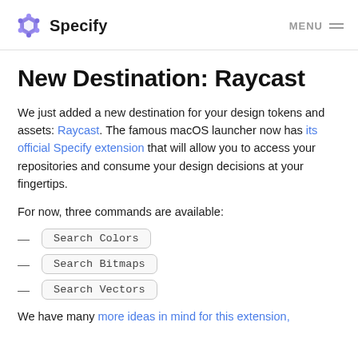Specify — MENU
New Destination: Raycast
We just added a new destination for your design tokens and assets: Raycast. The famous macOS launcher now has its official Specify extension that will allow you to access your repositories and consume your design decisions at your fingertips.
For now, three commands are available:
— Search Colors
— Search Bitmaps
— Search Vectors
We have many more ideas in mind for this extension,